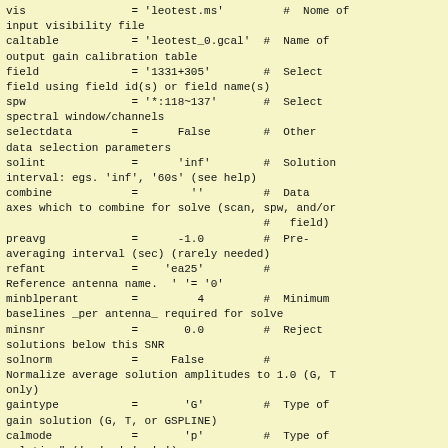vis = 'leotest.ms'  #  Nome of
input visibility file
caltable          = 'leotest_0.gcal'  #  Name of
output gain calibration table
field             = '1331+305'        #  Select
field using field id(s) or field name(s)
spw               = '*:118~137'       #  Select
spectral window/channels
selectdata        =      False        #  Other
data selection parameters
solint            =      'inf'        #  Solution
interval: egs. 'inf', '60s' (see help)
combine           =        ''         #  Data
axes which to combine for solve (scan, spw, and/or
                                         #   field)
preavg            =      -1.0         #  Pre-
averaging interval (sec) (rarely needed)
refant            =    'ea25'         #
Reference antenna name.  ' '= '0'
minblperant       =        4          #  Minimum
baselines _per antenna_ required for solve
minsnr            =       0.0         #  Reject
solutions below this SNR
solnorm           =     False         #
Normalize average solution amplitudes to 1.0 (G, T
only)
gaintype          =      'G'          #  Type of
gain solution (G, T, or GSPLINE)
calmode           =       'p'         #  Type of
solution" ('ap', 'p', 'a')
append            =     False         #  Append
solutions to the (existing) table
gaintable                             [  ]        #  Gain